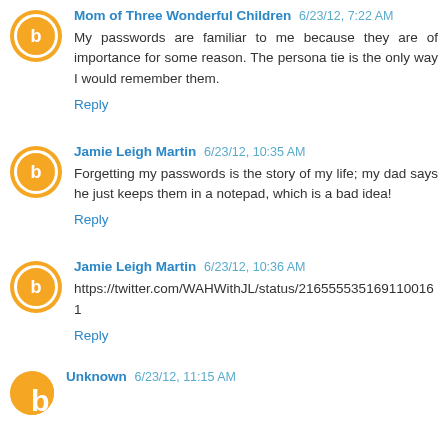Mom of Three Wonderful Children 6/23/12, 7:22 AM
My passwords are familiar to me because they are of importance for some reason. The persona tie is the only way I would remember them.
Reply
Jamie Leigh Martin 6/23/12, 10:35 AM
Forgetting my passwords is the story of my life; my dad says he just keeps them in a notepad, which is a bad idea!
Reply
Jamie Leigh Martin 6/23/12, 10:36 AM
https://twitter.com/WAHWithJL/status/216555535169110016 1
Reply
Unknown 6/23/12, 11:15 AM